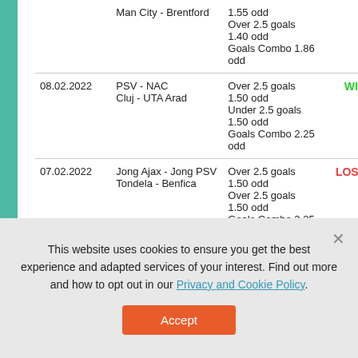| Date | Match | Bet | Result |
| --- | --- | --- | --- |
|  | Man City - Brentford | 1.55 odd
Over 2.5 goals
1.40 odd
Goals Combo 1.86 odd |  |
| 08.02.2022 | PSV - NAC
Cluj - UTA Arad | Over 2.5 goals
1.50 odd
Under 2.5 goals
1.50 odd
Goals Combo 2.25 odd | WIN |
| 07.02.2022 | Jong Ajax - Jong PSV
Tondela - Benfica | Over 2.5 goals
1.50 odd
Over 2.5 goals
1.50 odd
Goals Combo 2.25 | LOSE |
This website uses cookies to ensure you get the best experience and adapted services of your interest. Find out more and how to opt out in our Privacy and Cookie Policy.